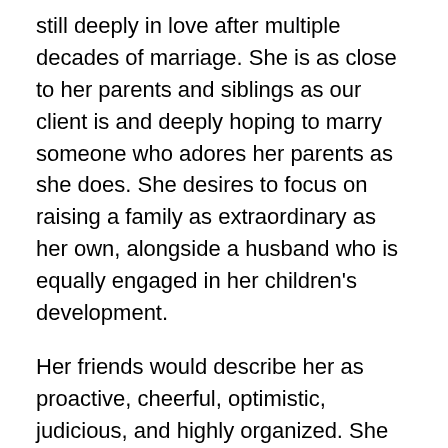still deeply in love after multiple decades of marriage. She is as close to her parents and siblings as our client is and deeply hoping to marry someone who adores her parents as she does. She desires to focus on raising a family as extraordinary as her own, alongside a husband who is equally engaged in her children's development.
Her friends would describe her as proactive, cheerful, optimistic, judicious, and highly organized. She has a job that is intellectually demanding and ambitious, but also one that has (or at least will have) reasonable hours so she can live a balanced, wholesome life with plenty of time to pursue her many other interests.
On weekends, her favorite activities include playing tennis, hiking, reading, and socializing with friends. She enjoys taking trips to national parks and visiting new cities and